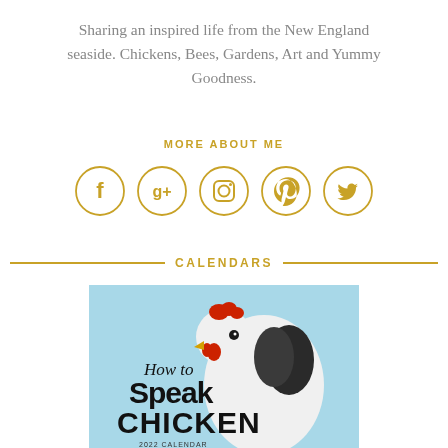Sharing an inspired life from the New England seaside. Chickens, Bees, Gardens, Art and Yummy Goodness.
MORE ABOUT ME
[Figure (infographic): Five social media icons in gold circles: Facebook, Google+, Instagram, Pinterest, Twitter]
CALENDARS
[Figure (photo): Book cover for 'How to Speak Chicken 2022 Calendar' showing a white chicken on a light blue background with bold black typography]